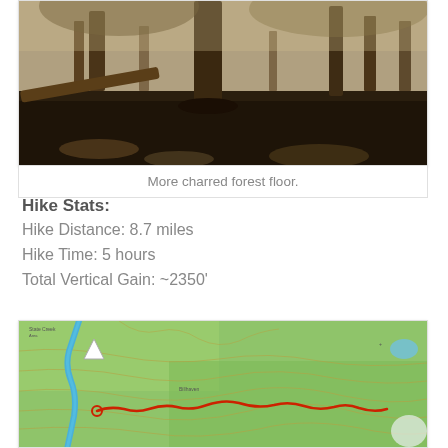[Figure (photo): Forest floor with charred ground and tree trunks, showing blackened soil and burned vegetation]
More charred forest floor.
Hike Stats:
Hike Distance:  8.7 miles
Hike Time:  5 hours
Total Vertical Gain:  ~2350'
[Figure (map): Topographic trail map showing a hiking route marked in red/orange through green forested terrain with elevation contour lines and a river/creek]